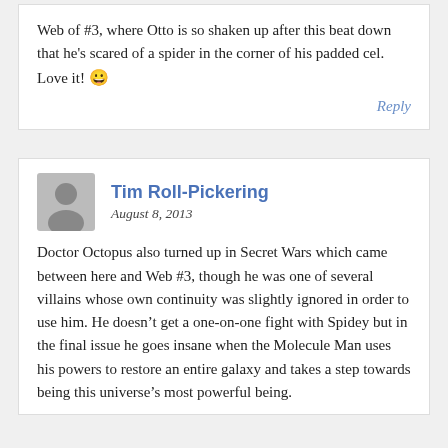Web of #3, where Otto is so shaken up after this beat down that he's scared of a spider in the corner of his padded cel. Love it! 😀
Reply
Tim Roll-Pickering
August 8, 2013
Doctor Octopus also turned up in Secret Wars which came between here and Web #3, though he was one of several villains whose own continuity was slightly ignored in order to use him. He doesn't get a one-on-one fight with Spidey but in the final issue he goes insane when the Molecule Man uses his powers to restore an entire galaxy and takes a step towards being this universe's most powerful being.